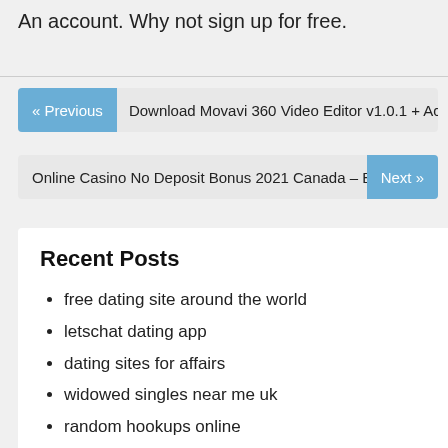An account. Why not sign up for free.
« Previous  Download Movavi 360 Video Editor v1.0.1 + Activation Cra…
Online Casino No Deposit Bonus 2021 Canada – Best real mon…  Next »
Recent Posts
free dating site around the world
letschat dating app
dating sites for affairs
widowed singles near me uk
random hookups online